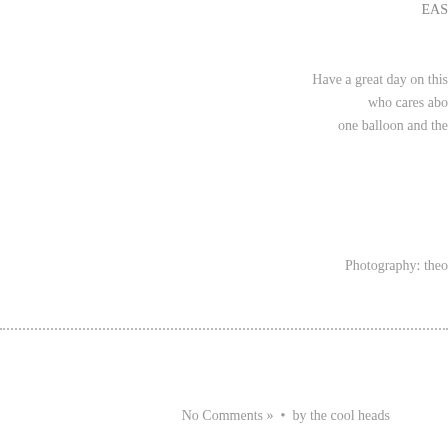EAS
Have a great day on this
who cares abo
one balloon and the
Photography: theo
No Comments »  •  by the cool heads
© 2013 The Cool Heads. All rights reserved.